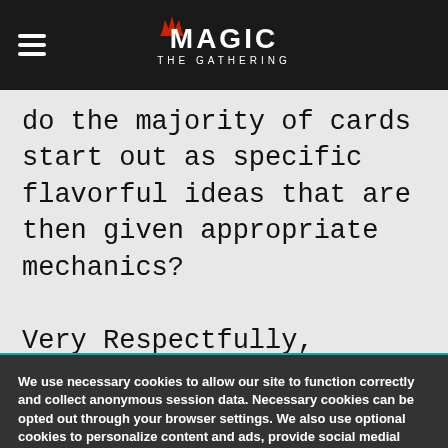Magic: The Gathering logo and navigation bar
do the majority of cards start out as specific flavorful ideas that are then given appropriate mechanics?

Very Respectfully,
Jacob
We use necessary cookies to allow our site to function correctly and collect anonymous session data. Necessary cookies can be opted out through your browser settings. We also use optional cookies to personalize content and ads, provide social medial features and analyze web traffic. By clicking “OK, I agree,” you consent to optional cookies. (Learn more about cookies.)
OK, I agree   No, thanks